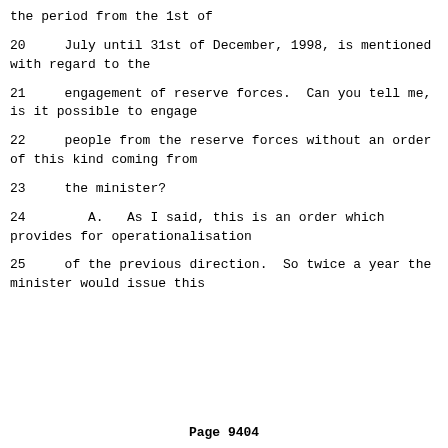the period from the 1st of
20     July until 31st of December, 1998, is mentioned with regard to the
21     engagement of reserve forces.  Can you tell me, is it possible to engage
22     people from the reserve forces without an order of this kind coming from
23     the minister?
24        A.   As I said, this is an order which provides for operationalisation
25     of the previous direction.  So twice a year the minister would issue this
Page 9404